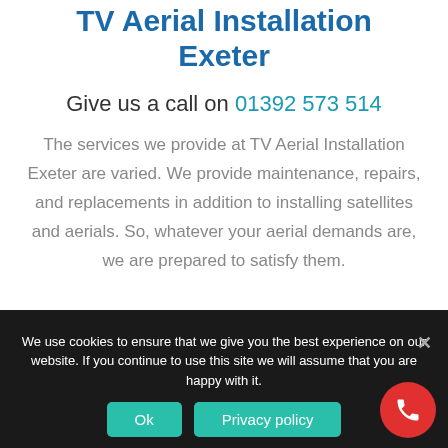TV Aerial Installation Exeter
Give us a call on 01392 573 514
The services we provide at TV Aerial Installation Exeter are varied. We provide maintenance, repairs, and replacements in addition to installing satellites and aerials. So, whatever your aerial demands are, we are prepared to satisfy them.
We use cookies to ensure that we give you the best experience on our website. If you continue to use this site we will assume that you are happy with it.